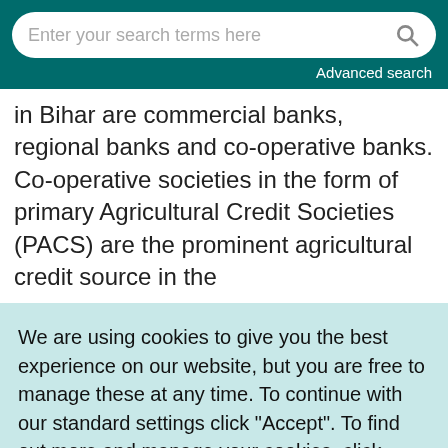Enter your search terms here  Advanced search
in Bihar are commercial banks, regional banks and co-operative banks. Co-operative societies in the form of primary Agricultural Credit Societies (PACS) are the prominent agricultural credit source in the
We are using cookies to give you the best experience on our website, but you are free to manage these at any time. To continue with our standard settings click "Accept". To find out more and manage your cookies, click "Manage cookies".
Accept  ✓   Manage cookies   ×
availing loans from banks and co-operative society force them to take loans from informal credit